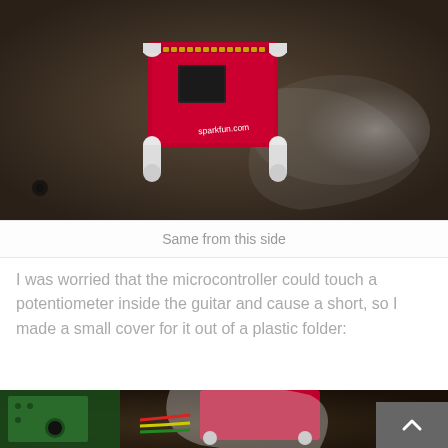[Figure (photo): Photo of a red SparkFun microcontroller board mounted on white plastic standoffs on a dark surface, viewed from the side/top. The board has 'sparkfun.com' text visible and is positioned on what appears to be a clear acrylic surface.]
Same from this side
I was worried that the microcontroller could touch a potentiometer inside the guitar and cause a short, so I made a small cover for it out of a plastic folder:
[Figure (photo): Photo of electronics hardware showing a green guitar circuit board on the left, and a red SparkFun microcontroller board covered with a clear plastic folder cover, held in place on white standoffs. Colored wires (red, yellow, green) are visible connecting components.]